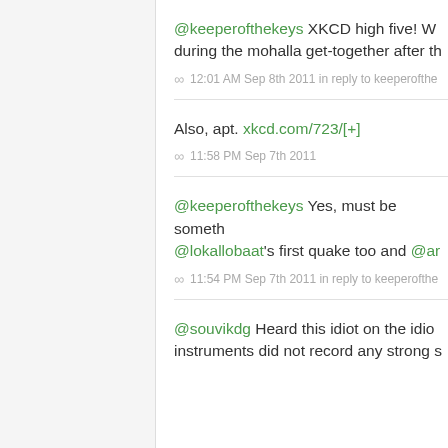@keeperofthekeys XKCD high five! W... during the mohalla get-together after th...
∞  12:01 AM Sep 8th 2011 in reply to keeperofthe...
Also, apt. xkcd.com/723/[+]
∞  11:58 PM Sep 7th 2011
@keeperofthekeys Yes, must be someth... @lokallobaat's first quake too and @ar...
∞  11:54 PM Sep 7th 2011 in reply to keeperofthe...
@souvikdg Heard this idiot on the idio... instruments did not record any strong s...